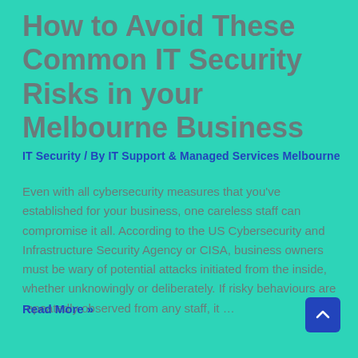How to Avoid These Common IT Security Risks in your Melbourne Business
IT Security / By IT Support & Managed Services Melbourne
Even with all cybersecurity measures that you've established for your business, one careless staff can compromise it all. According to the US Cybersecurity and Infrastructure Security Agency or CISA, business owners must be wary of potential attacks initiated from the inside, whether unknowingly or deliberately. If risky behaviours are repeatedly observed from any staff, it …
Read More »